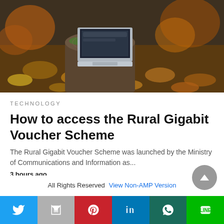[Figure (photo): A laptop computer sitting on a mossy tree stump surrounded by autumn leaves.]
TECHNOLOGY
How to access the Rural Gigabit Voucher Scheme
The Rural Gigabit Voucher Scheme was launched by the Ministry of Communications and Information as...
3 hours ago
All Rights Reserved  View Non-AMP Version